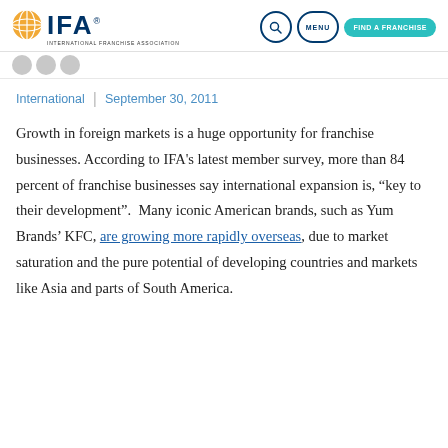IFA — International Franchise Association | [Search] [MENU] [FIND A FRANCHISE]
International | September 30, 2011
Growth in foreign markets is a huge opportunity for franchise businesses. According to IFA’s latest member survey, more than 84 percent of franchise businesses say international expansion is, “key to their development”. Many iconic American brands, such as Yum Brands’ KFC, are growing more rapidly overseas, due to market saturation and the pure potential of developing countries and markets like Asia and parts of South America.